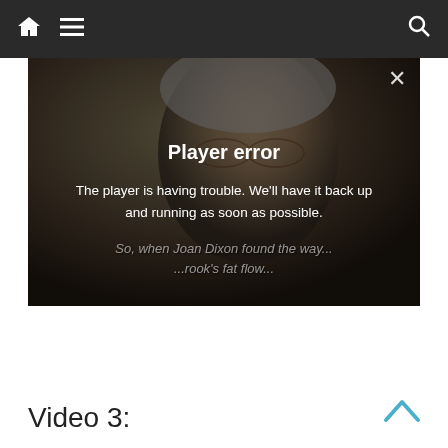[Figure (screenshot): Website navigation bar with home icon, hamburger menu icon on left, and search icon on right, dark background with teal top stripe]
[Figure (screenshot): Video player showing a person's face (elderly individual with glasses and gray hair) with a 'Player error' overlay message and a close X button in the top right corner. Subtitle text partially visible at bottom reads: 'So, when Joan Dixon found the way... ...rook's fat flow...']
Player error
The player is having trouble. We'll have it back up and running as soon as possible.
Video 3: